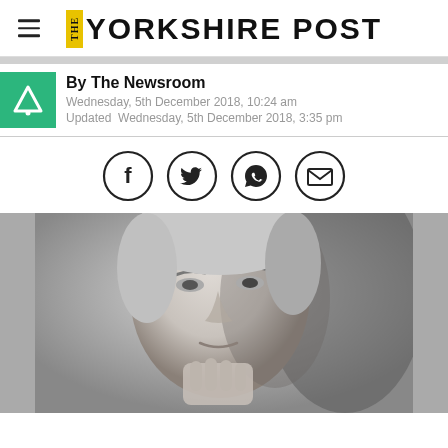THE YORKSHIRE POST
By The Newsroom
Wednesday, 5th December 2018, 10:24 am
Updated Wednesday, 5th December 2018, 3:35 pm
[Figure (other): Social share icons: Facebook, Twitter, WhatsApp, Email]
[Figure (photo): Black and white close-up photo of an older man's face]